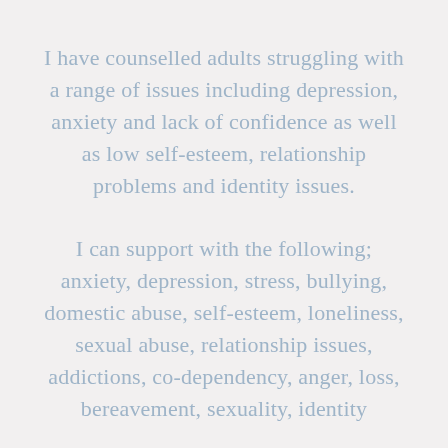I have counselled adults struggling with a range of issues including depression, anxiety and lack of confidence as well as low self-esteem, relationship problems and identity issues.
I can support with the following; anxiety, depression, stress, bullying, domestic abuse, self-esteem, loneliness, sexual abuse, relationship issues, addictions, co-dependency, anger, loss, bereavement, sexuality, identity